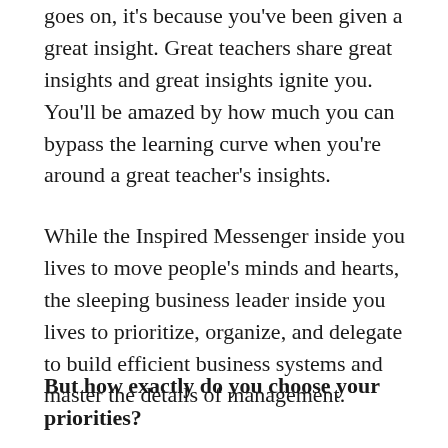goes on, it's because you've been given a great insight. Great teachers share great insights and great insights ignite you. You'll be amazed by how much you can bypass the learning curve when you're around a great teacher's insights.
While the Inspired Messenger inside you lives to move people's minds and hearts, the sleeping business leader inside you lives to prioritize, organize, and delegate to build efficient business systems and master the details of management.
But how exactly do you choose your priorities?